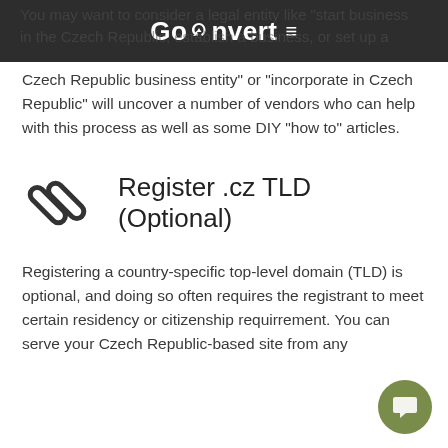GoConvert ≡
You may want to consider a legal entity like 'start business in the Czech Republic, establish a business, or set up a Czech Republic business entity" or "incorporate in Czech Republic" will uncover a number of vendors who can help with this process as well as some DIY "how to" articles.
Register .cz TLD (Optional)
Registering a country-specific top-level domain (TLD) is optional, and doing so often requires the registrant to meet certain residency or citizenship requirrement. You can serve your Czech Republic-based site from any